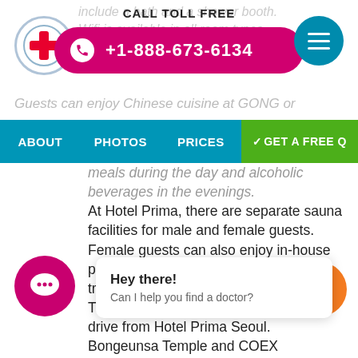CALL TOLL FREE +1-888-673-6134
include a bath and a shower booth. Wifi is available in all room types, including guest rooms.
Guests can enjoy Chinese cuisine at GONG or
ABOUT  PHOTOS  PRICES  ✓GET A FREE Q
meals during the day and alcoholic beverages in the evenings.
At Hotel Prima, there are separate sauna facilities for male and female guests. Female guests can also enjoy in-house pilates sessions, facial massage treatments and foot baths.
The popular Garosu-gil is a 10-minute drive from Hotel Prima Seoul. Bongeunsa Temple and COEX Contention Center and Mall area a 5-minute drive away. Guests can check-in for international flights at the Korea City Air terminal which is adjacent to the hotel.
Gangnam-Gu is a great choice for travellers